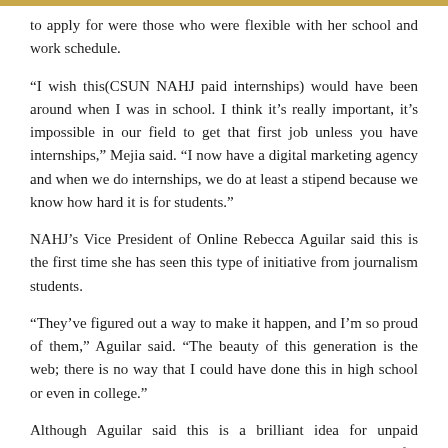to apply for were those who were flexible with her school and work schedule.
“I wish this(CSUN NAHJ paid internships) would have been around when I was in school. I think it’s really important, it’s impossible in our field to get that first job unless you have internships,” Mejia said. “I now have a digital marketing agency and when we do internships, we do at least a stipend because we know how hard it is for students.”
NAHJ’s Vice President of Online Rebecca Aguilar said this is the first time she has seen this type of initiative from journalism students.
“They’ve figured out a way to make it happen, and I’m so proud of them,” Aguilar said. “The beauty of this generation is the web; there is no way that I could have done this in high school or even in college.”
Although Aguilar said this is a brilliant idea for unpaid internships, she hopes that this doesn’t become the standard for other students hoping to obtain internships.